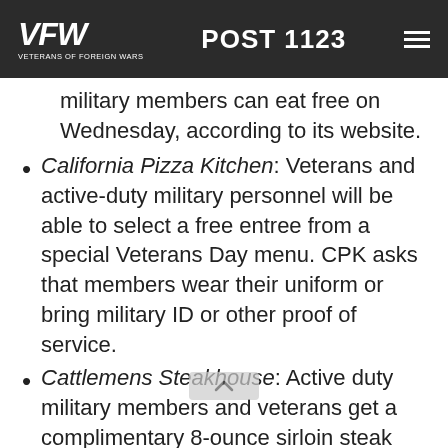VFW VETERANS OF FOREIGN WARS — POST 1123
military members can eat free on Wednesday, according to its website.
California Pizza Kitchen: Veterans and active-duty military personnel will be able to select a free entree from a special Veterans Day menu. CPK asks that members wear their uniform or bring military ID or other proof of service.
Cattlemens Steakhouse: Active duty military members and veterans get a complimentary 8-ounce sirloin steak dinner on Veterans Day.
Cattlenders Restaurant: C...